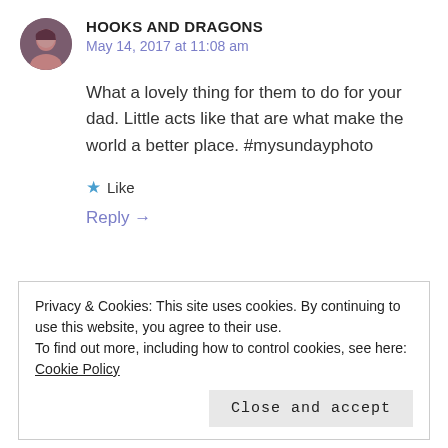HOOKS AND DRAGONS
May 14, 2017 at 11:08 am
What a lovely thing for them to do for your dad. Little acts like that are what make the world a better place. #mysundayphoto
★ Like
Reply →
Privacy & Cookies: This site uses cookies. By continuing to use this website, you agree to their use.
To find out more, including how to control cookies, see here: Cookie Policy
Close and accept